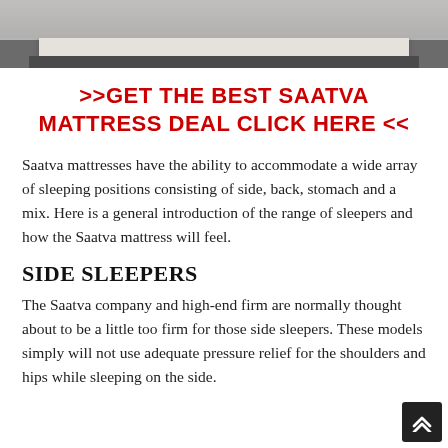[Figure (photo): Photograph of a Saatva mattress on a bed frame, cropped to show the top and side profile of the mattress against a gray background.]
>>GET THE BEST SAATVA MATTRESS DEAL CLICK HERE <<
Saatva mattresses have the ability to accommodate a wide array of sleeping positions consisting of side, back, stomach and a mix. Here is a general introduction of the range of sleepers and how the Saatva mattress will feel.
SIDE SLEEPERS
The Saatva company and high-end firm are normally thought about to be a little too firm for those side sleepers. These models simply will not use adequate pressure relief for the shoulders and hips while sleeping on the side.